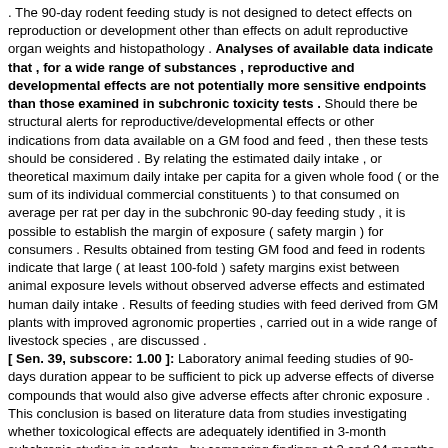. The 90-day rodent feeding study is not designed to detect effects on reproduction or development other than effects on adult reproductive organ weights and histopathology . Analyses of available data indicate that , for a wide range of substances , reproductive and developmental effects are not potentially more sensitive endpoints than those examined in subchronic toxicity tests . Should there be structural alerts for reproductive/developmental effects or other indications from data available on a GM food and feed , then these tests should be considered . By relating the estimated daily intake , or theoretical maximum daily intake per capita for a given whole food ( or the sum of its individual commercial constituents ) to that consumed on average per rat per day in the subchronic 90-day feeding study , it is possible to establish the margin of exposure ( safety margin ) for consumers . Results obtained from testing GM food and feed in rodents indicate that large ( at least 100-fold ) safety margins exist between animal exposure levels without observed adverse effects and estimated human daily intake . Results of feeding studies with feed derived from GM plants with improved agronomic properties , carried out in a wide range of livestock species , are discussed . [ Sen. 39, subscore: 1.00 ]: Laboratory animal feeding studies of 90-days duration appear to be sufficient to pick up adverse effects of diverse compounds that would also give adverse effects after chronic exposure . This conclusion is based on literature data from studies investigating whether toxicological effects are adequately identified in 3-month subchronic studies in rodents , by comparing findings at 3 and 24 months for a range of different chemicals . The 90-day rodent feeding study is not designed to detect effects on reproduction or development other than effects on adult reproductive organ weights and histopathology . Analyses of available data indicate that , for a wide range of substances , reproductive and developmental effects are not